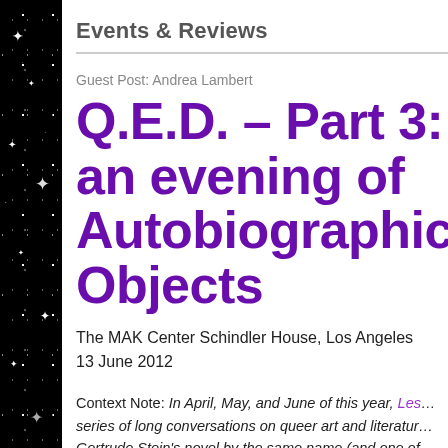Events & Reviews
Guest Post: Andrea Lambert
Q.E.D. – Part 3: an evening of Autobiographical Objects
The MAK Center Schindler House, Los Angeles
13 June 2012
Context Note: In April, May, and June of this year, Les… series of long conversations on queer art and literatur… Gertrude Stein's novel by the same name (and one of … stories), each Q.E.D. event explored the construction…